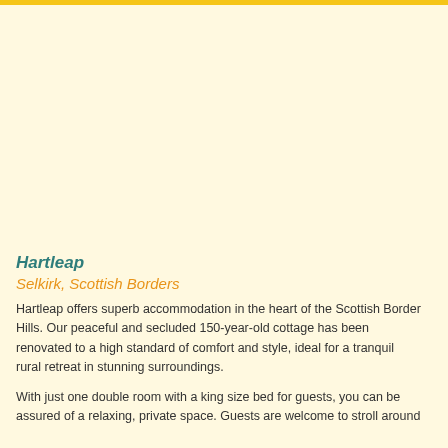Gold Accommodation
[Figure (photo): Large image placeholder area with cream/light yellow background representing a photo of Hartleap accommodation]
Hartleap
Selkirk, Scottish Borders
Hartleap offers superb accommodation in the heart of the Scottish Border Hills. Our peaceful and secluded 150-year-old cottage has been renovated to a high standard of comfort and style, ideal for a tranquil rural retreat in stunning surroundings.
With just one double room with a king size bed for guests, you can be assured of a relaxing, private space. Guests are welcome to stroll around